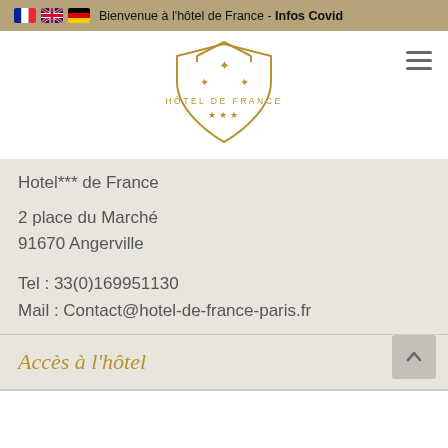🇫🇷 🇬🇧 🇩🇪 Bienvenue à l'hôtel de France - Infos Covid
[Figure (logo): Hôtel de France logo with shield shape, fleur-de-lis symbols, stars and text HÔTEL DE FRANCE in gold]
Hotel*** de France
2 place du Marché
91670 Angerville
Tel : 33(0)169951130
Mail : Contact@hotel-de-france-paris.fr
Accès à l'hôtel